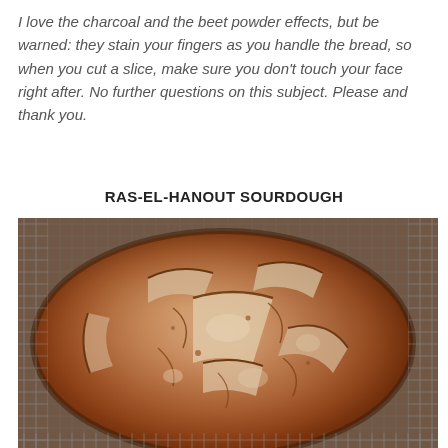I love the charcoal and the beet powder effects, but be warned: they stain your fingers as you handle the bread, so when you cut a slice, make sure you don't touch your face right after. No further questions on this subject. Please and thank you.
RAS-EL-HANOUT SOURDOUGH
[Figure (photo): Close-up photograph of a round sourdough bread loaf with decorative scoring patterns on top, showing a golden-brown to reddish-brown crust dusted with flour, resting on a wire cooling rack.]